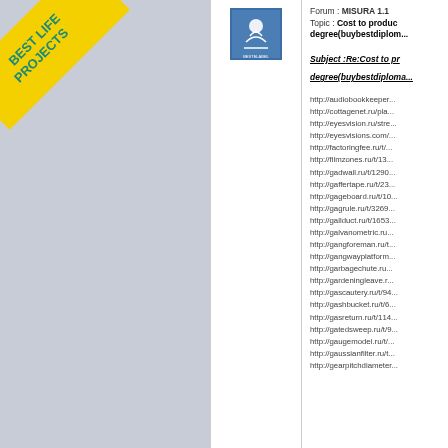[Figure (logo): Best Life Projects diagonal badge in yellow with teal text]
[Figure (logo): Bestelabel logo with bird/nature icon in blue square]
Forum : MISURA 1.1
Topic : Cost to produce a degree(buybestdiplom...
Subject :Re:Cost to produce a degree(buybestdiploma...
http://audiobookkeeper...
http://cottagenet.ru/pla...
http://eyesvision.ru/stre...
http://eyesvisions.com/...
http://factoringfee.ru/t/...
http://filmzones.ru/t/13...
http://gadwall.ru/t/1290...
http://gaffertape.ru/t/23...
http://gageboard.ru/t/10...
http://gagrule.ru/t/3269...
http://gallduct.ru/t/1653...
http://galvanometric.ru...
http://gangforeman.ru/t...
http://gangwayplatform...
http://garbagechute.ru...
http://gardeningleave.r...
http://gascautery.ru/t/94...
http://gashbucket.ru/t/6...
http://gasreturn.ru/t/114...
http://gatedsweep.ru/t/9...
http://gaugemodel.ru/t/...
http://gaussianfilter.ru/t...
http://gearpitchdiameter...